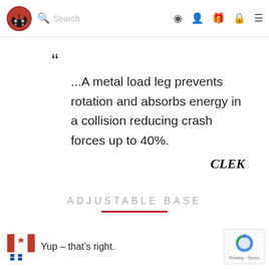Navigation bar with logo, search field, and icons (location, account, gift, cart, menu)
...A metal load leg prevents rotation and absorbs energy in a collision reducing crash forces up to 40%.
CLEK
ADJUSTABLE BASE
[Figure (illustration): Red horizontal decorative line under ADJUSTABLE BASE heading]
Yup – that's right.
[Figure (logo): Canadian flag icon with red maple leaf and blue bars]
[Figure (logo): Google reCAPTCHA badge with circular arrow logo and Privacy/Terms links]